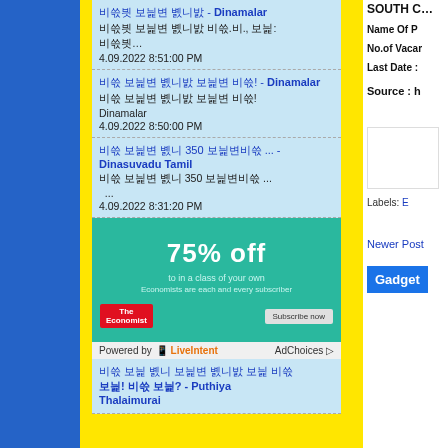Tamil news link - Dinamalar | Tamil news content Oo., Source: content... 4.09.2022 8:51:00 PM
Tamil news link! - Dinamalar | Tamil news content! Dinamalar 4.09.2022 8:50:00 PM
Tamil news 350 content ... - Dinasuvadu Tamil | Tamil 350 content ... ... 4.09.2022 8:31:20 PM
[Figure (screenshot): Advertisement banner: teal/green background, '75% off' in large white text, small tagline text, The Economist logo bottom left, Subscribe now button bottom right]
Powered by LiveIntent AdChoices
Tamil news content! Tamil? - Puthiya Thalaimurai
South C...
Name Of P
No.of Vacar
Last Date :
Source : h
Labels: E
Newer Post
Gadget